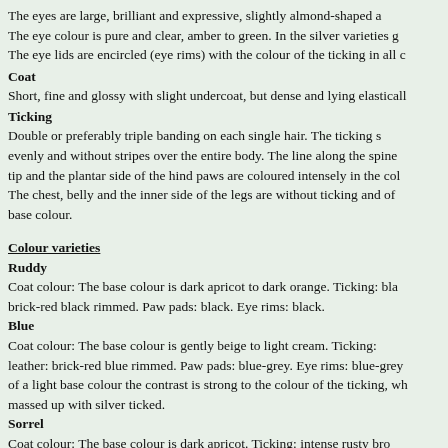The eyes are large, brilliant and expressive, slightly almond-shaped a... The eye colour is pure and clear, amber to green. In the silver varieties g... The eye lids are encircled (eye rims) with the colour of the ticking in all c...
Coat
Short, fine and glossy with slight undercoat, but dense and lying elasticall...
Ticking
Double or preferably triple banding on each single hair. The ticking s... evenly and without stripes over the entire body. The line along the spine... tip and the plantar side of the hind paws are coloured intensely in the col... The chest, belly and the inner side of the legs are without ticking and of... base colour.
Colour varieties
Ruddy
Coat colour: The base colour is dark apricot to dark orange. Ticking: bla... brick-red black rimmed. Paw pads: black. Eye rims: black.
Blue
Coat colour: The base colour is gently beige to light cream. Ticking:... leather: brick-red blue rimmed. Paw pads: blue-grey. Eye rims: blue-grey... of a light base colour the contrast is strong to the colour of the ticking, wh... massed up with silver ticked.
Sorrel
Coat colour: The base colour is dark apricot. Ticking: intense rusty bro... dark pink red-brown rimmed. Paw pads: dark pink. Eye rims: red-brown.
Fawn
Coat colour: The base colour is a dull, weak cream. Ticking: dark, w... leather: pink old-rose rimmed. Paw pads: old-rose. Eye rims: old-rose.
Chocolate
Coat colour: The base colour is...Ticking: ...